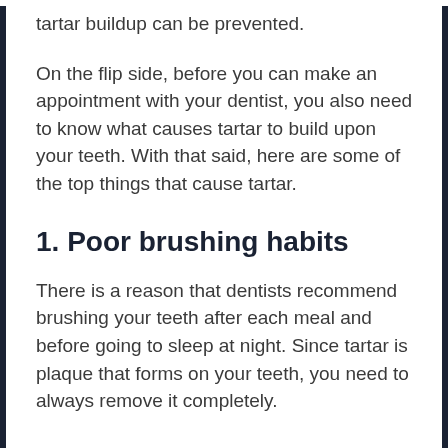tartar buildup can be prevented.
On the flip side, before you can make an appointment with your dentist, you also need to know what causes tartar to build upon your teeth. With that said, here are some of the top things that cause tartar.
1. Poor brushing habits
There is a reason that dentists recommend brushing your teeth after each meal and before going to sleep at night. Since tartar is plaque that forms on your teeth, you need to always remove it completely.